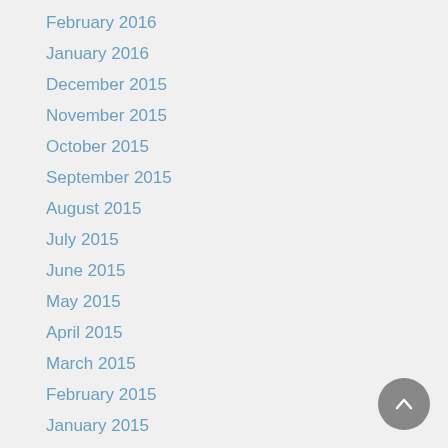February 2016
January 2016
December 2015
November 2015
October 2015
September 2015
August 2015
July 2015
June 2015
May 2015
April 2015
March 2015
February 2015
January 2015
December 2014
November 2014
October 2014
September 2014
August 2014